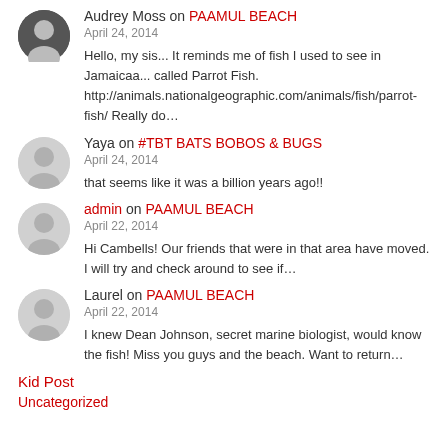Audrey Moss on PAAMUL BEACH
April 24, 2014
Hello, my sis... It reminds me of fish I used to see in Jamaicaa... called Parrot Fish. http://animals.nationalgeographic.com/animals/fish/parrot-fish/ Really do…
Yaya on #TBT BATS BOBOS & BUGS
April 24, 2014
that seems like it was a billion years ago!!
admin on PAAMUL BEACH
April 22, 2014
Hi Cambells! Our friends that were in that area have moved. I will try and check around to see if…
Laurel on PAAMUL BEACH
April 22, 2014
I knew Dean Johnson, secret marine biologist, would know the fish! Miss you guys and the beach. Want to return…
Kid Post
Uncategorized